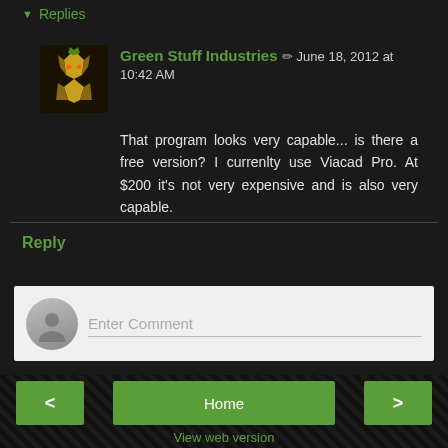Replies
Green Stuff Industries  June 18, 2012 at 10:42 AM
That program looks very capable... is there a free version? I currenlty use Viacad Pro. At $200 it's not very expensive and is also very capable.
Reply
[Figure (screenshot): Comment input box with user avatar placeholder and 'Enter Comment' placeholder text]
< Home > View web version Powered by Blogger.